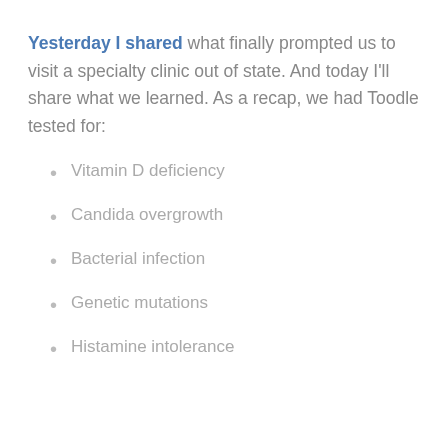Yesterday I shared what finally prompted us to visit a specialty clinic out of state. And today I'll share what we learned. As a recap, we had Toodle tested for:
Vitamin D deficiency
Candida overgrowth
Bacterial infection
Genetic mutations
Histamine intolerance
This website uses cookies to improve your experience. We'll assume you're ok with this, but you can opt-out if you wish.
Cookie settings    ACCEPT